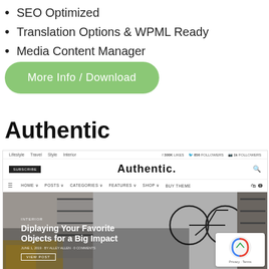SEO Optimized
Translation Options & WPML Ready
Media Content Manager
More Info / Download
Authentic
[Figure (screenshot): Screenshot of the Authentic WordPress theme website showing navigation bar with Lifestyle, Travel, Style, Interior menu items, social follower counts, Subscribe button, Authentic logo, main navigation with HOME, POSTS, CATEGORIES, FEATURES, SHOP, BUY THEME, and a hero image of a modern interior with a bicycle on the wall and text 'Diplaying Your Favorite Objects for a Big Impact']